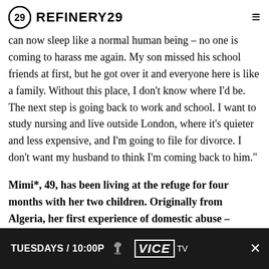REFINERY29
can now sleep like a normal human being – no one is coming to harass me again. My son missed his school friends at first, but he got over it and everyone here is like a family. Without this place, I don't know where I'd be. The next step is going back to work and school. I want to study nursing and live outside London, where it's quieter and less expensive, and I'm going to file for divorce. I don't want my husband to think I'm coming back to him."
Mimi*, 49, has been living at the refuge for four months with her two children. Originally from Algeria, her first experience of domestic abuse – physical and financial – was many years ago, and most of
[Figure (screenshot): VICE TV advertisement banner: TUESDAYS / 10:00P with microphone icon and VICE TV logo]